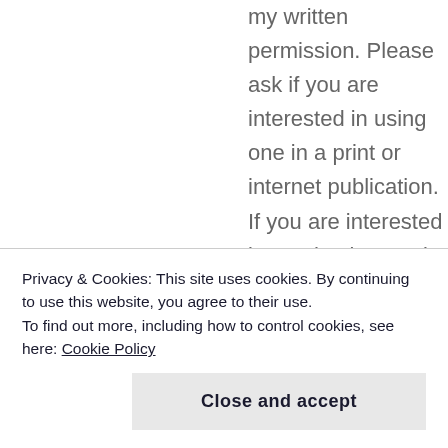my written permission. Please ask if you are interested in using one in a print or internet publication. If you are interested in purchasing a print of an
Privacy & Cookies: This site uses cookies. By continuing to use this website, you agree to their use.
To find out more, including how to control cookies, see here: Cookie Policy
Close and accept
it available